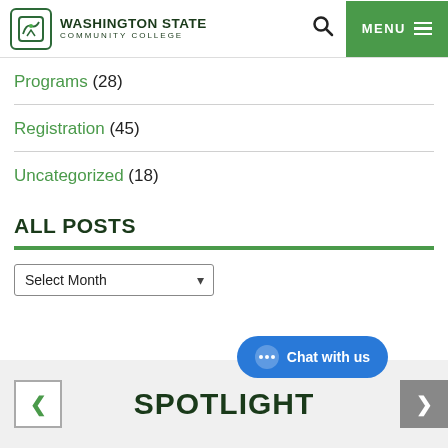Washington State Community College
Programs (28)
Registration (45)
Uncategorized (18)
ALL POSTS
Select Month
SPOTLIGHT